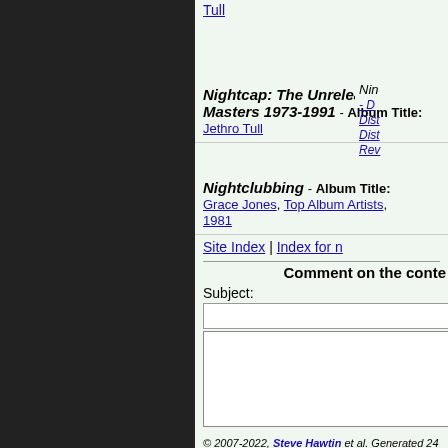Tull
Dist
Nightcap: The Unreleased Masters 1973-1991 - Album Title: Jethro Tull
Nin - D Dist Dist Rev
Nightclubbing - Album Title: Grace Jones, Top Album Artists, 1981
Nin hit
Site Index | Index for n
Comment on the conte
Subject:
© 2007-2022, Steve Hawtin et al. Generated 24 Jul 202... acknowledged, second a link to the tsort.info site is pr... 2.8.0046). If you cannot, or do not wish to, follow th...